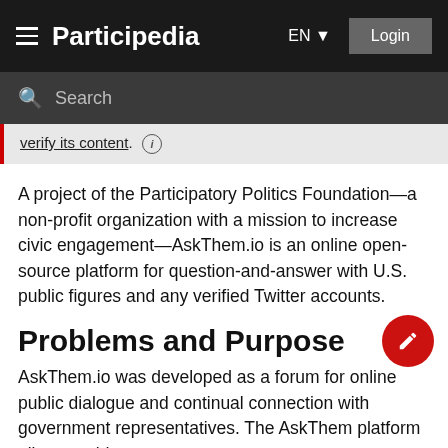Participedia  EN  Login
Search
verify its content.
A project of the Participatory Politics Foundation—a non-profit organization with a mission to increase civic engagement—AskThem.io is an online open-source platform for question-and-answer with U.S. public figures and any verified Twitter accounts.
Problems and Purpose
AskThem.io was developed as a forum for online public dialogue and continual connection with government representatives. The AskThem platform allows residents